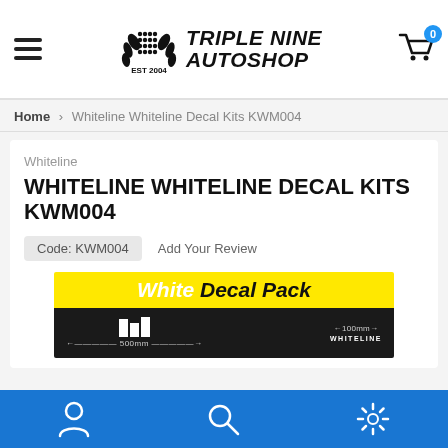Triple Nine Autoshop — EST 2004
Home > Whiteline Whiteline Decal Kits KWM004
Whiteline
WHITELINE WHITELINE DECAL KITS KWM004
Code: KWM004   Add Your Review
[Figure (photo): Whiteline White Decal Pack product packaging showing 500mm and 100mm decal strips on a yellow and black background]
Navigation bar with account, search, and settings icons